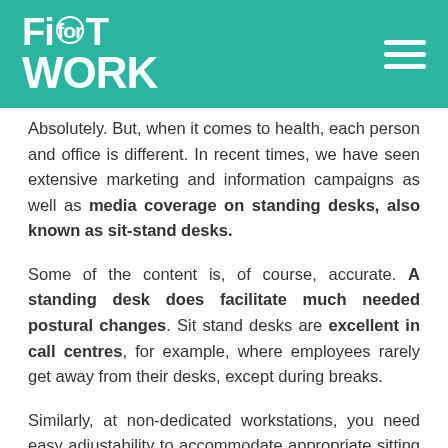Fit for Work
Absolutely. But, when it comes to health, each person and office is different. In recent times, we have seen extensive marketing and information campaigns as well as media coverage on standing desks, also known as sit-stand desks.
Some of the content is, of course, accurate. A standing desk does facilitate much needed postural changes. Sit stand desks are excellent in call centres, for example, where employees rarely get away from their desks, except during breaks.
Similarly, at non-dedicated workstations, you need easy adjustability to accommodate appropriate sitting and standing height of various employees. Again, a sit stand desk option is great here.